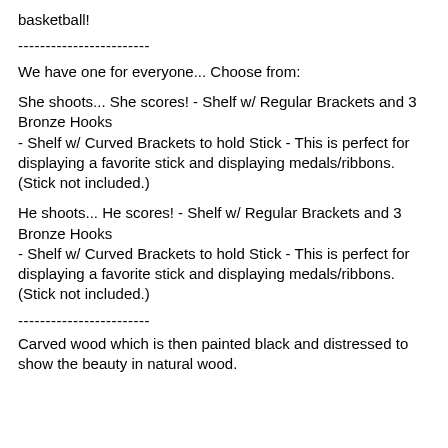basketball!
------------------------
We have one for everyone... Choose from:
She shoots... She scores! - Shelf w/ Regular Brackets and 3 Bronze Hooks
- Shelf w/ Curved Brackets to hold Stick - This is perfect for displaying a favorite stick and displaying medals/ribbons. (Stick not included.)
He shoots... He scores! - Shelf w/ Regular Brackets and 3 Bronze Hooks
- Shelf w/ Curved Brackets to hold Stick - This is perfect for displaying a favorite stick and displaying medals/ribbons. (Stick not included.)
------------------------
Carved wood which is then painted black and distressed to show the beauty in natural wood.